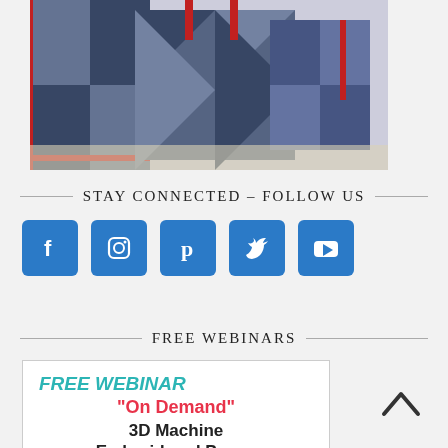[Figure (photo): Denim patchwork bags with red trim and zipper accents arranged together]
STAY CONNECTED – FOLLOW US
[Figure (infographic): Five social media icon buttons: Facebook, Instagram, Pinterest, Twitter, YouTube — blue rounded square buttons]
FREE WEBINARS
[Figure (infographic): Free webinar card with text: FREE WEBINAR, On Demand, 3D Machine Embroidered Peony]
FREE WEBINAR "On Demand" 3D Machine Embroidered Peony